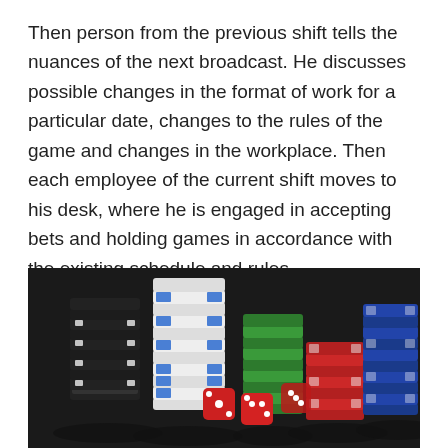Then person from the previous shift tells the nuances of the next broadcast. He discusses possible changes in the format of work for a particular date, changes to the rules of the game and changes in the workplace. Then each employee of the current shift moves to his desk, where he is engaged in accepting bets and holding games in accordance with the existing schedule and rules.
[Figure (photo): Stacks of casino poker chips in various colors (black, white/blue, green, red, blue) arranged on a dark surface with red dice scattered in the foreground.]